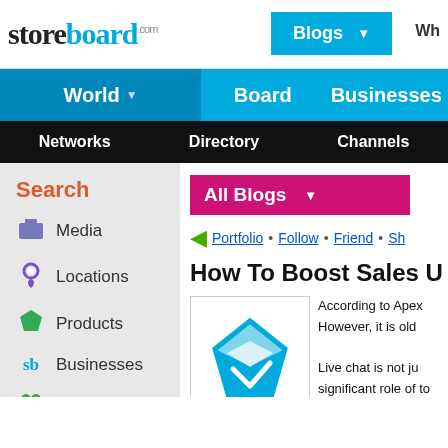storeboard.com
Blogs
Wh
World ▼   Board   Businesses
Networks   Directory   Channels
Search
Media
Locations
Products
Businesses
Groups
All Blogs
Portfolio • Follow • Friend • Sh
How To Boost Sales Usi
[Figure (logo): Blue diamond/gem icon]
According to Apex
However, it is old
Live chat is not ju significant role of to live chat.
Using other resources, you can fetch